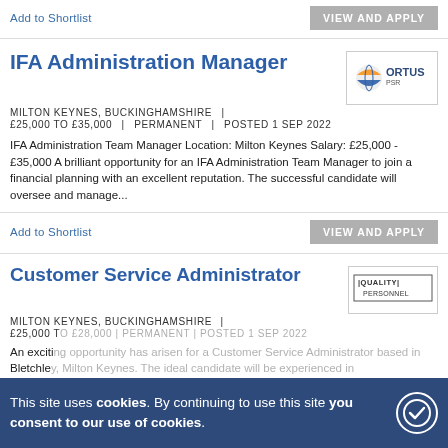Add to Shortlist
VIEW AND APPLY
IFA Administration Manager
MILTON KEYNES, BUCKINGHAMSHIRE  |  £25,000 TO £35,000  |  PERMANENT  |  POSTED 1 SEP 2022
IFA Administration Team Manager Location: Milton Keynes Salary: £25,000 - £35,000 A brilliant opportunity for an IFA Administration Team Manager to join a financial planning with an excellent reputation. The successful candidate will oversee and manage...
Add to Shortlist
VIEW AND APPLY
Customer Service Administrator
MILTON KEYNES, BUCKINGHAMSHIRE  |  £25,000 TO £28,000  |  PERMANENT  |  POSTED 1 SEP 2022
An exciting opportunity has arisen for a Customer Service Administrator based in Bletchley, Milton Keynes. The ideal candidate will be experienced in Customer Service and Sales Order Processing and ideally have a
This site uses cookies. By continuing to use this site you consent to our use of cookies.